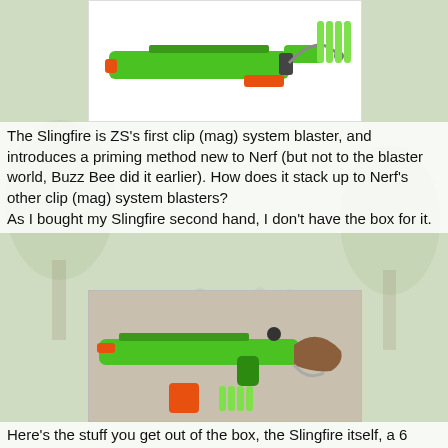[Figure (photo): Top portion of a Nerf Zombie Strike Slingfire blaster with orange and green colors, and green foam darts shown to the right, on a white background.]
The Slingfire is ZS's first clip (mag) system blaster, and introduces a priming method new to Nerf (but not to the blaster world, Buzz Bee did it earlier). How does it stack up to Nerf's other clip (mag) system blasters?
As I bought my Slingfire second hand, I don't have the box for it.
[Figure (photo): Photo of a green and orange Nerf Zombie Strike Slingfire blaster lying on a tan/beige surface, with an orange clip/magazine and green foam darts placed next to it.]
Here's the stuff you get out of the box, the Slingfire itself, a 6